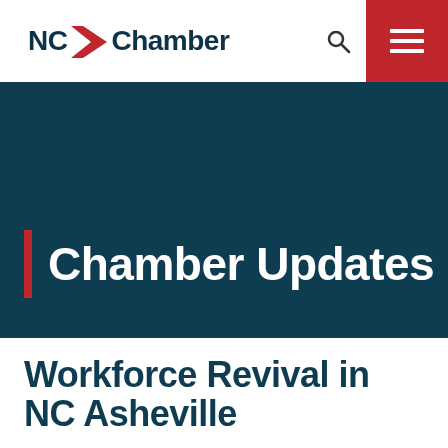NC Chamber
Chamber Updates
Workforce Revival in NC Asheville